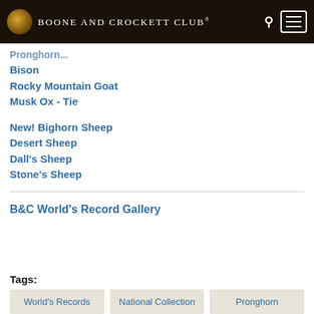Boone and Crockett Club®
Pronghorn
Bison
Rocky Mountain Goat
Musk Ox - Tie
New! Bighorn Sheep
Desert Sheep
Dall's Sheep
Stone's Sheep
B&C World's Record Gallery
Tags:
World's Records
National Collection
Pronghorn